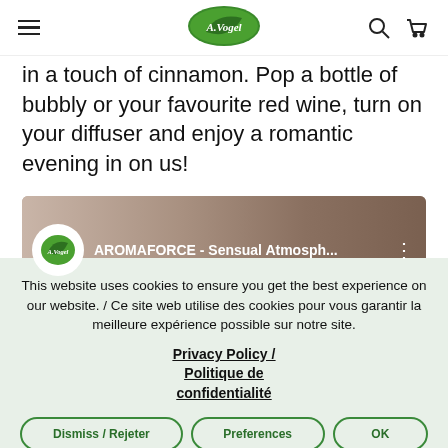A.Vogel navigation bar with hamburger menu, logo, search and cart icons
in a touch of cinnamon. Pop a bottle of bubbly or your favourite red wine, turn on your diffuser and enjoy a romantic evening in on us!
[Figure (screenshot): YouTube video thumbnail showing AROMAFORCE - Sensual Atmosph... with A.Vogel channel logo]
This website uses cookies to ensure you get the best experience on our website. / Ce site web utilise des cookies pour vous garantir la meilleure expérience possible sur notre site.
Privacy Policy / Politique de confidentialité
Dismiss / Rejeter | Preferences | OK